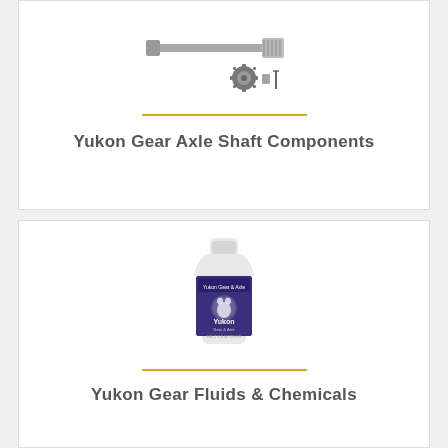[Figure (photo): Yukon Gear axle shaft components — metal shaft and small gear/bearing parts on white background]
Yukon Gear Axle Shaft Components
[Figure (photo): Yukon Gear fluid bottle — small white-capped bottle with dark purple label featuring Yukon Gear branding and a bear logo]
Yukon Gear Fluids & Chemicals